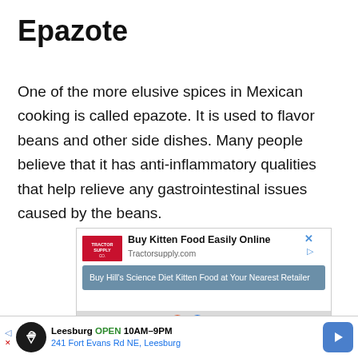Epazote
One of the more elusive spices in Mexican cooking is called epazote. It is used to flavor beans and other side dishes. Many people believe that it has anti-inflammatory qualities that help relieve any gastrointestinal issues caused by the beans.
[Figure (screenshot): An online advertisement for Tractor Supply Co. showing 'Buy Kitten Food Easily Online' with Tractorsupply.com domain, a blue banner for Hill's Science Diet Kitten Food, and a map/location overlay showing Leesburg store open 10AM-9PM at 241 Fort Evans Rd NE, Leesburg with a 'No compatible source was found for this media' overlay message.]